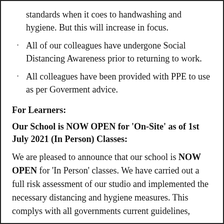standards when it coes to handwashing and hygiene. But this will increase in focus.
All of our colleagues have undergone Social Distancing Awareness prior to returning to work.
All colleagues have been provided with PPE to use as per Goverment advice.
For Learners:
Our School is NOW OPEN for ‘On-Site’ as of 1st July 2021 (In Person) Classes:
We are pleased to announce that our school is NOW OPEN for ‘In Person’ classes. We have carried out a full risk assessment of our studio and implemented the necessary distancing and hygiene measures. This complys with all governments current guidelines,